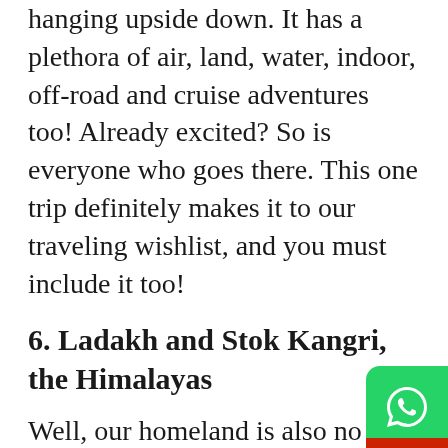hanging upside down. It has a plethora of air, land, water, indoor, off-road and cruise adventures too! Already excited? So is everyone who goes there. This one trip definitely makes it to our traveling wishlist, and you must include it too!
6. Ladakh and Stok Kangri, the Himalayas
Well, our homeland is also no stranger to some daredevil places to visit and to indulge in some adventure trips! The Himalaya is one of the world's toughest places to explore. This place is meant for all the enthusiastic trekkers & there are countless treks in Himalaya for trekking. Trekking at this place requires a lot of and strength, but once you do, the feeling